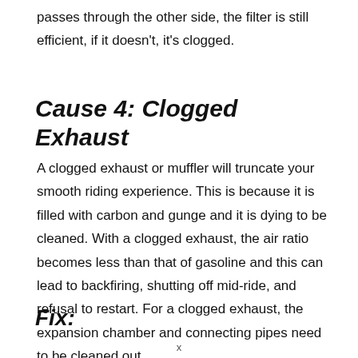passes through the other side, the filter is still efficient, if it doesn't, it's clogged.
Cause 4: Clogged Exhaust
A clogged exhaust or muffler will truncate your smooth riding experience. This is because it is filled with carbon and gunge and it is dying to be cleaned. With a clogged exhaust, the air ratio becomes less than that of gasoline and this can lead to backfiring, shutting off mid-ride, and refusal to restart. For a clogged exhaust, the expansion chamber and connecting pipes need to be cleaned out.
Fix:
x